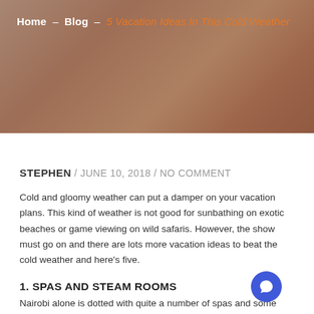[Figure (photo): Hero banner image showing warm-toned close-up photo (hands/skin texture) with brownish-orange overlay, used as decorative background for blog post header]
Home – Blog – 5 Vacation Ideas In This Cold Weather
STEPHEN / JUNE 10, 2018 / NO COMMENT
Cold and gloomy weather can put a damper on your vacation plans. This kind of weather is not good for sunbathing on exotic beaches or game viewing on wild safaris. However, the show must go on and there are lots more vacation ideas to beat the cold weather and here's five.
1. SPAS AND STEAM ROOMS
Nairobi alone is dotted with quite a number of spas and some